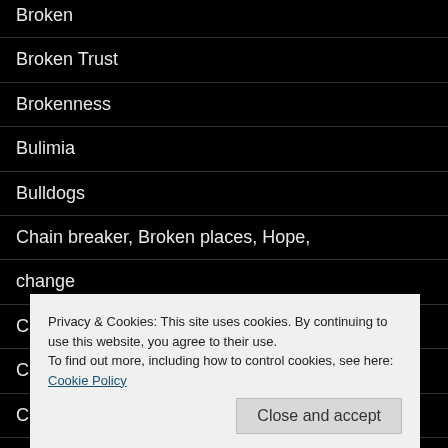Broken
Broken Trust
Brokenness
Bulimia
Bulldogs
Chain breaker, Broken places, Hope,
change
Choose life
Christmas
C...
C...
c...
Condemnation
Privacy & Cookies: This site uses cookies. By continuing to use this website, you agree to their use.
To find out more, including how to control cookies, see here: Cookie Policy